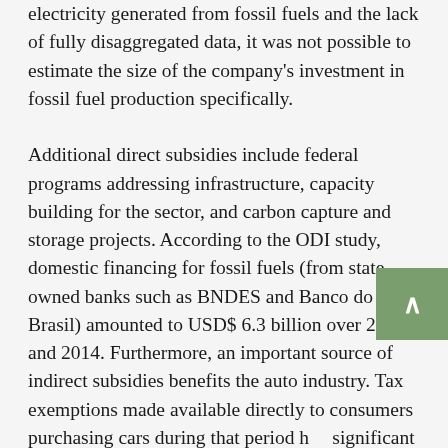electricity generated from fossil fuels and the lack of fully disaggregated data, it was not possible to estimate the size of the company's investment in fossil fuel production specifically.

Additional direct subsidies include federal programs addressing infrastructure, capacity building for the sector, and carbon capture and storage projects. According to the ODI study, domestic financing for fossil fuels (from state owned banks such as BNDES and Banco do Brasil) amounted to USD$ 6.3 billion over 2013 and 2014. Furthermore, an important source of indirect subsidies benefits the auto industry. Tax exemptions made available directly to consumers purchasing cars during that period had significant impact on the economy and on carbon emissions as from 2008. Finally, Brazil contributes to international funds and projects that benefit the oil